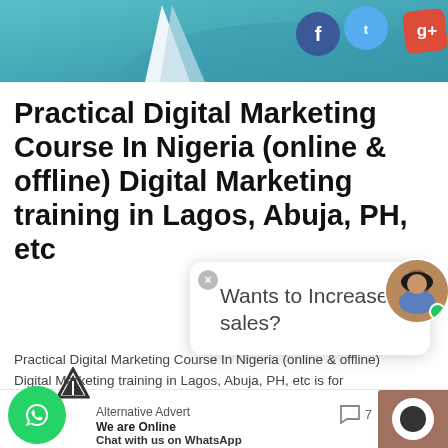[Figure (illustration): Social media marketing banner with Google Plus, Facebook, Twitter icons on teal/blue background]
Practical Digital Marketing Course In Nigeria (online & offline) Digital Marketing training in Lagos, Abuja, PH, etc
[Figure (screenshot): Chat popup bubble saying 'Wants to Increase sales?' with close button, and female avatar with green online dot]
Practical Digital Marketing Course In Nigeria (online & offline) Digital Marketing training in Lagos, Abuja, PH, etc is for  corporate ... Continue reading
Alternative Advert
We are Online
Chat with us on
WhatsApp